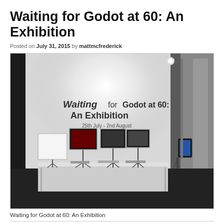Waiting for Godot at 60: An Exhibition
Posted on July 31, 2015 by mattmcfrederick
[Figure (photo): Gallery exhibition space showing a white wall with the text 'Waiting for Godot at 60: An Exhibition, 25th July - 2nd August' and several display stands on music stands in front of a white table, with an iPad kiosk on the right.]
Waiting for Godot at 60: An Exhibition